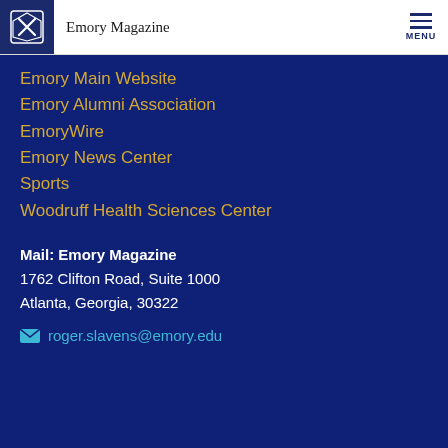Emory Magazine
Emory Main Website
Emory Alumni Association
EmoryWire
Emory News Center
Sports
Woodruff Health Sciences Center
Mail: Emory Magazine
1762 Clifton Road, Suite 1000
Atlanta, Georgia, 30322
roger.slavens@emory.edu